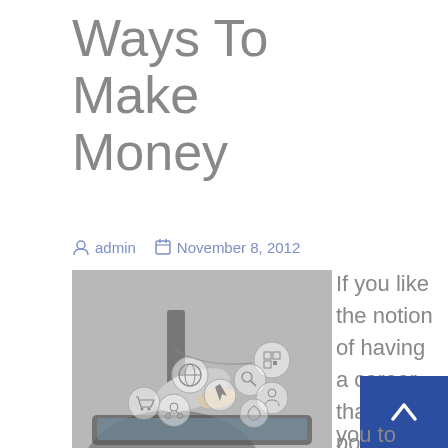Ways To Make Money
admin   November 8, 2012
[Figure (photo): Person in suit touching a tablet with floating circular digital icons (globe, shopping cart, QR code, cursor, mail, network, etc.) above the screen, shown in grayscale/muted tones.]
If you like the notion of having a career that potentia you to